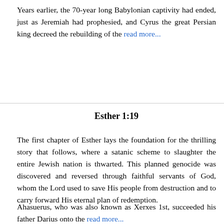Years earlier, the 70-year long Babylonian captivity had ended, just as Jeremiah had prophesied, and Cyrus the great Persian king decreed the rebuilding of the read more...
Esther 1:19
The first chapter of Esther lays the foundation for the thrilling story that follows, where a satanic scheme to slaughter the entire Jewish nation is thwarted. This planned genocide was discovered and reversed through faithful servants of God, whom the Lord used to save His people from destruction and to carry forward His eternal plan of redemption.
Ahasuerus, who was also known as Xerxes 1st, succeeded his father Darius onto the read more...